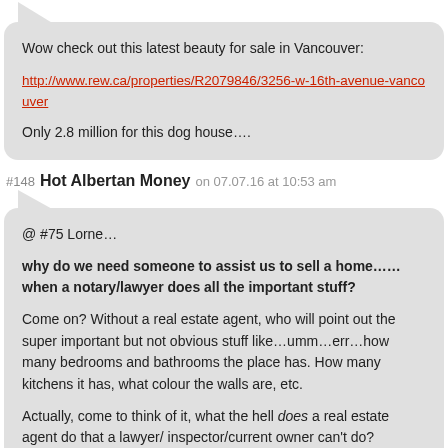Wow check out this latest beauty for sale in Vancouver:

http://www.rew.ca/properties/R2079846/3256-w-16th-avenue-vancouver

Only 2.8 million for this dog house….
#148 Hot Albertan Money on 07.07.16 at 10:53 am
@ #75 Lorne…

why do we need someone to assist us to sell a home……when a notary/lawyer does all the important stuff?

Come on? Without a real estate agent, who will point out the super important but not obvious stuff like…umm…err…how many bedrooms and bathrooms the place has. How many kitchens it has, what colour the walls are, etc.

Actually, come to think of it, what the hell does a real estate agent do that a lawyer/ inspector/current owner can't do?